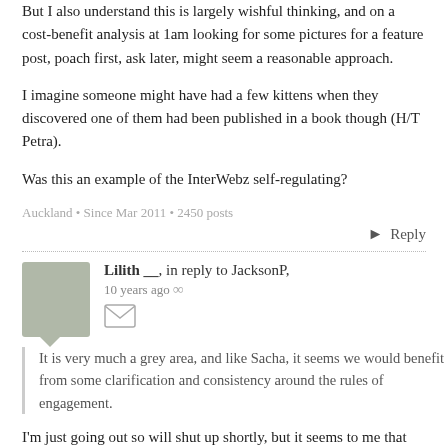But I also understand this is largely wishful thinking, and on a cost-benefit analysis at 1am looking for some pictures for a feature post, poach first, ask later, might seem a reasonable approach.
I imagine someone might have had a few kittens when they discovered one of them had been published in a book though (H/T Petra).
Was this an example of the InterWebz self-regulating?
Auckland • Since Mar 2011 • 2450 posts
Reply
Lilith __, in reply to JacksonP, 10 years ago
It is very much a grey area, and like Sacha, it seems we would benefit from some clarification and consistency around the rules of engagement.
I'm just going out so will shut up shortly, but it seems to me that plagiarism of words is not a grey area, and re-posting someone else's writing